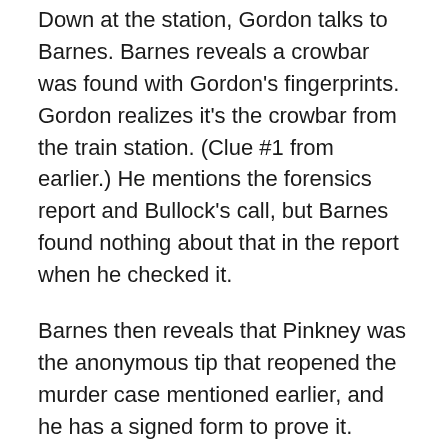Down at the station, Gordon talks to Barnes. Barnes reveals a crowbar was found with Gordon's fingerprints. Gordon realizes it's the crowbar from the train station. (Clue #1 from earlier.) He mentions the forensics report and Bullock's call, but Barnes found nothing about that in the report when he checked it.
Barnes then reveals that Pinkney was the anonymous tip that reopened the murder case mentioned earlier, and he has a signed form to prove it. Amidst all these accusations, we see flashbacks of Nygma taking the crowbar, Nygma securing Pinkney's signature at the bank (Clue #2 from earlier), and Nygma swapping out forensic reports in Bullock's file.
Gordon has been thoroughly trapped in The Riddler's web, and Barnes takes him in. Gordon is charged with the murder and sent to prison.